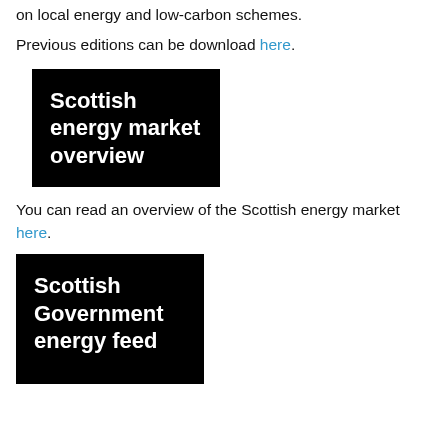on local energy and low-carbon schemes.
Previous editions can be download here.
[Figure (other): Black box with white bold text reading 'Scottish energy market overview']
You can read an overview of the Scottish energy market here.
[Figure (other): Black box with white bold text reading 'Scottish Government energy feed' (partially visible)]